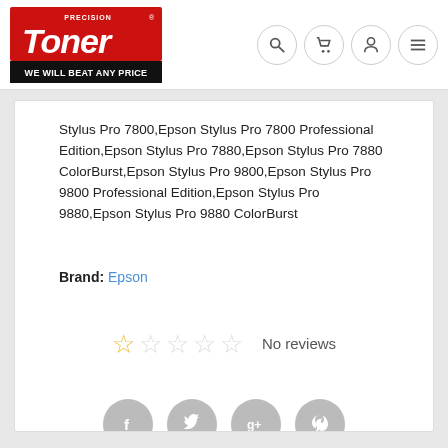[Figure (logo): Precision Toner logo with red background, italic white 'Toner' text, and black bar with 'WE WILL BEAT ANY PRICE' tagline]
Stylus Pro 7800,Epson Stylus Pro 7800 Professional Edition,Epson Stylus Pro 7880,Epson Stylus Pro 7880 ColorBurst,Epson Stylus Pro 9800,Epson Stylus Pro 9800 Professional Edition,Epson Stylus Pro 9880,Epson Stylus Pro 9880 ColorBurst
Brand: Epson
No reviews
[Figure (infographic): Social share icons: Facebook, Twitter, Google+, Pinterest]